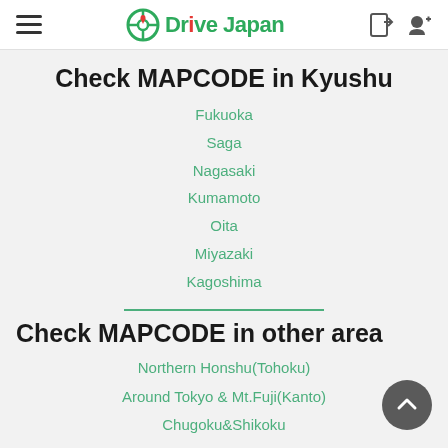DriveJapan
Check MAPCODE in Kyushu
Fukuoka
Saga
Nagasaki
Kumamoto
Oita
Miyazaki
Kagoshima
Check MAPCODE in other area
Northern Honshu(Tohoku)
Around Tokyo & Mt.Fuji(Kanto)
Chugoku&Shikoku
Kyushu